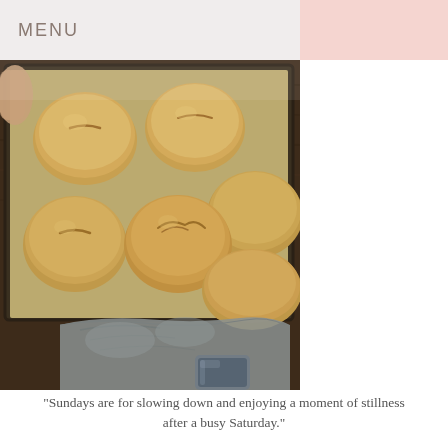MENU
[Figure (photo): Overhead photo of six golden-brown bread rolls on parchment paper on a baking tray, resting on a dark wooden surface with a gray cloth napkin and a glass jar visible in the lower portion.]
"Sundays are for slowing down and enjoying a moment of stillness after a busy Saturday."